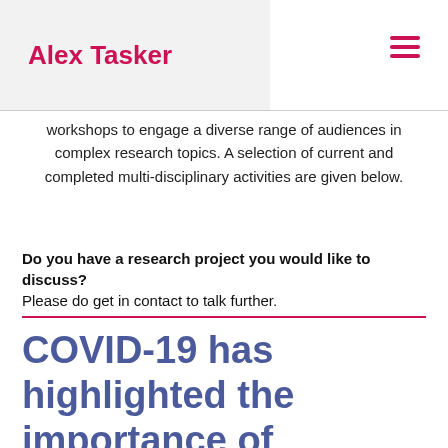Alex Tasker
workshops to engage a diverse range of audiences in complex research topics. A selection of current and completed multi-disciplinary activities are given below.
Do you have a research project you would like to discuss? Please do get in contact to talk further.
COVID-19 has highlighted the importance of qualitative evidence as part of an effective response – and it is key to an inclusive